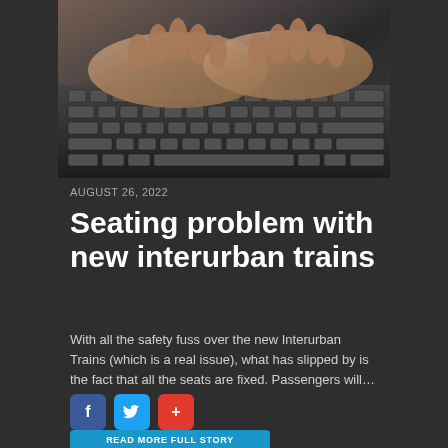[Figure (photo): Close-up photo of hands typing on a dark laptop keyboard]
AUGUST 26, 2022
Seating problem with new interurban trains
With all the safety fuss over the new Interurban Trains (which is a real issue), what has slipped by is the fact that all the seats are fixed. Passengers will…
[Figure (infographic): Social share buttons: Facebook (blue f), Twitter (blue bird), and a red plus button]
[Figure (other): Read more button in teal/blue color at the bottom]